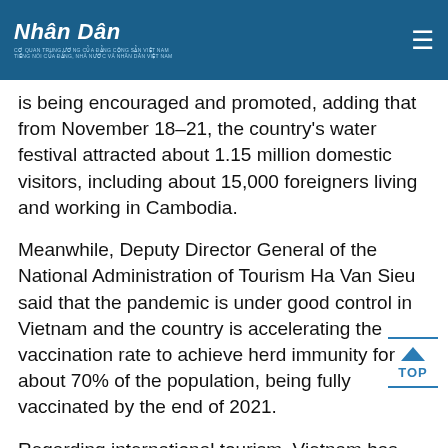Nhân Dân
is being encouraged and promoted, adding that from November 18-21, the country's water festival attracted about 1.15 million domestic visitors, including about 15,000 foreigners living and working in Cambodia.
Meanwhile, Deputy Director General of the National Administration of Tourism Ha Van Sieu said that the pandemic is under good control in Vietnam and the country is accelerating the vaccination rate to achieve herd immunity for about 70% of the population, being fully vaccinated by the end of 2021.
Regarding international tourism, Vietnam has